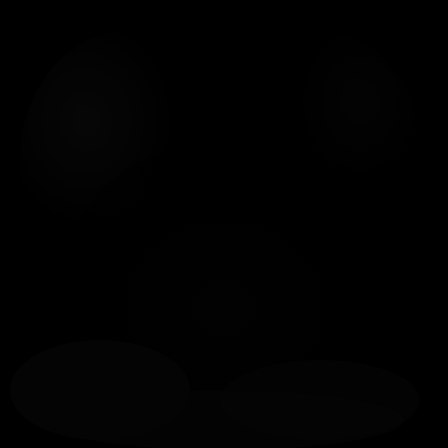[Figure (photo): Predominantly black image with very faint, barely visible dark shapes or texture against a near-completely black background. The image appears to be an extremely underexposed or dark photograph with minimal discernible detail.]